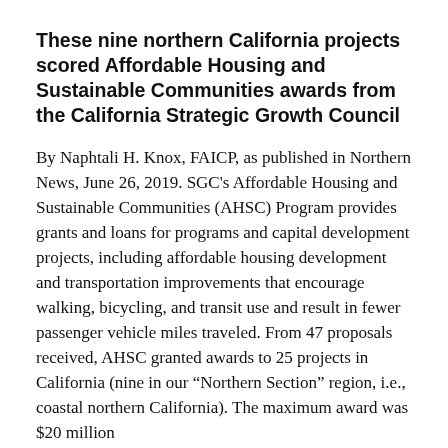These nine northern California projects scored Affordable Housing and Sustainable Communities awards from the California Strategic Growth Council
By Naphtali H. Knox, FAICP, as published in Northern News, June 26, 2019. SGC's Affordable Housing and Sustainable Communities (AHSC) Program provides grants and loans for programs and capital development projects, including affordable housing development and transportation improvements that encourage walking, bicycling, and transit use and result in fewer passenger vehicle miles traveled. From 47 proposals received, AHSC granted awards to 25 projects in California (nine in our “Northern Section” region, i.e., coastal northern California). The maximum award was $20 million